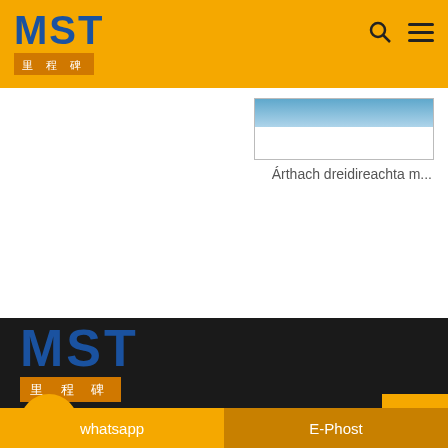[Figure (logo): MST logo with orange bar and Chinese characters 里程碑 on yellow header bar]
[Figure (screenshot): Partial product image of a vessel/container in a card with light blue top portion and white bottom]
Árthach dreidireachta m...
[Figure (logo): MST logo with orange bar and Chinese characters 里程碑 on dark footer background]
+86-15003222152
Loingseoireacht Thapa
whatsapp
E-Phost